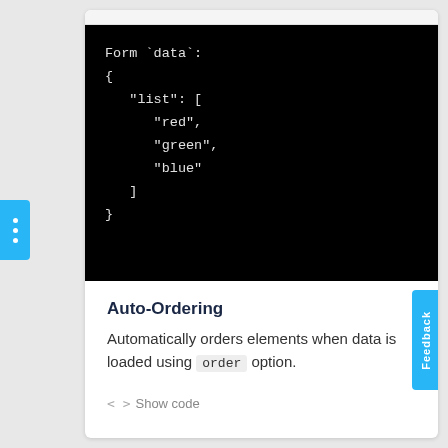[Figure (screenshot): Black code block showing JSON-like Form data structure with a list containing 'red', 'green', 'blue']
Auto-Ordering
Automatically orders elements when data is loaded using order option.
< > Show code